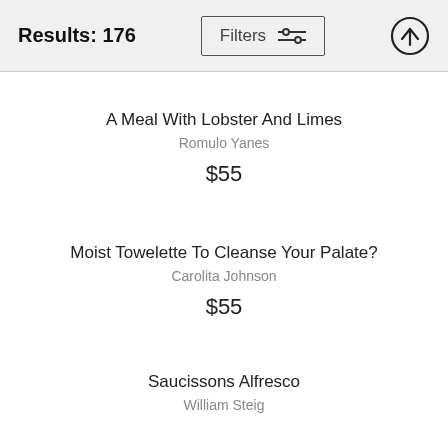Results: 176
A Meal With Lobster And Limes
Romulo Yanes
$55
Moist Towelette To Cleanse Your Palate?
Carolita Johnson
$55
Saucissons Alfresco
William Steig